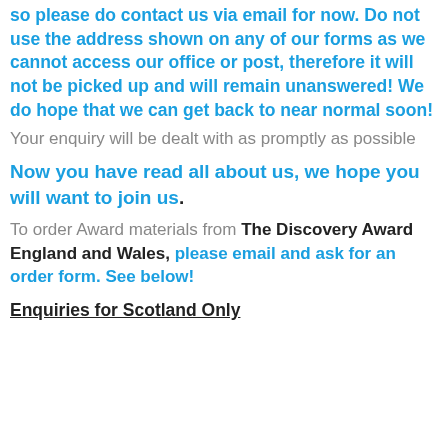so please do contact us via email for now. Do not use the address shown on any of our forms as we cannot access our office or post, therefore it will not be picked up and will remain unanswered! We do hope that we can get back to near normal soon!
Your enquiry will be dealt with as promptly as possible
Now you have read all about us, we hope you will want to join us.
To order Award materials from The Discovery Award  England and Wales, please email and ask for an order form. See below!
Enquiries for Scotland Only